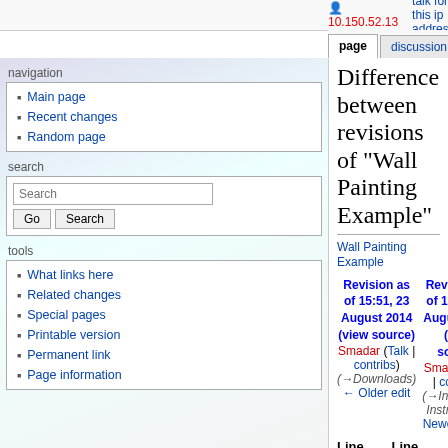10.150.52.13   talk for this ip address   log in
page | discussion | view source | history
Difference between revisions of "Wall Painting Example"
Wall Painting Example
Revision as of 15:51, 23 August 2014 (view source)
Smadar (Talk | contribs)
(→Downloads)
← Older edit
Revision as of 15:55, 23 August 2014 (view source)
Smadar (Talk | contribs)
(→Installation Instructions)
Newer edit →
Line 16:
Line 16:
[[Media:WallPainting.zip|The Wall Painting LSC Project]] <br>
[[Media:WallPainting.zip|The Wall Painting LSC Project]] <br>
Main page
Recent changes
Random page
What links here
Related changes
Special pages
Printable version
Permanent link
Page information